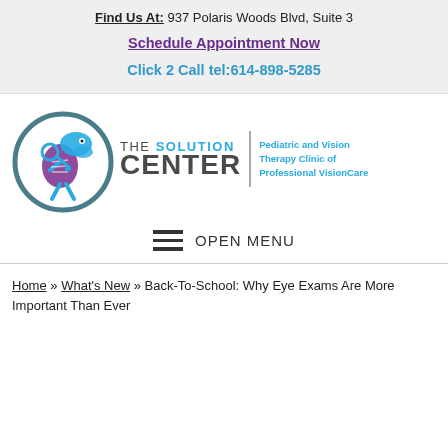Find Us At: 937 Polaris Woods Blvd, Suite 3
Schedule Appointment Now
Click 2 Call tel:614-898-5285
[Figure (logo): The Solution Center logo — a circular dinosaur skeleton icon in teal and purple, with the text THE SOLUTION CENTER and tagline Pediatric and Vision Therapy Clinic of Professional VisionCare]
OPEN MENU
Home » What's New » Back-To-School: Why Eye Exams Are More Important Than Ever